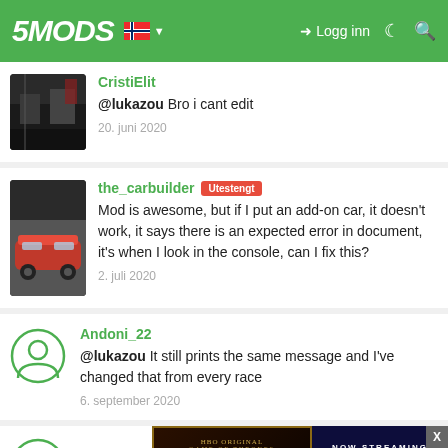5MODS — Logg inn
CristiElit
@lukazou Bro i cant edit
20. juni 2020
the_carbuilder [Utestengt]
Mod is awesome, but if I put an add-on car, it doesn't work, it says there is an expected error in document, it's when I look in the console, can I fix this?
2. juli 2020
Andoni_22
@lukazou It still prints the same message and I've changed that from every race
6. september 2020
[Figure (screenshot): HBO Original Game of Thrones House of the Dragon - Now Streaming on HBO Max advertisement banner]